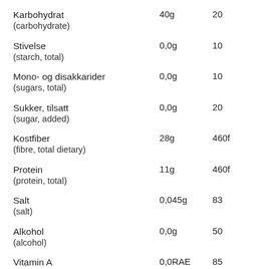| Nutrient | Amount | Ref |
| --- | --- | --- |
| Karbohydrat (carbohydrate) | 40g | 20 |
| Stivelse (starch, total) | 0,0g | 10 |
| Mono- og disakkarider (sugars, total) | 0,0g | 10 |
| Sukker, tilsatt (sugar, added) | 0,0g | 20 |
| Kostfiber (fibre, total dietary) | 28g | 460f |
| Protein (protein, total) | 11g | 460f |
| Salt (salt) | 0,045g | 83 |
| Alkohol (alcohol) | 0,0g | 50 |
| Vitamin A | 0,0RAE | 85 |